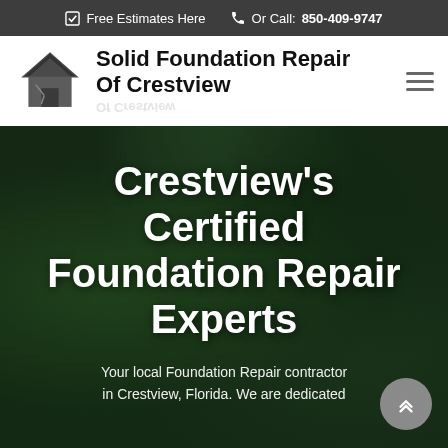☑ Free Estimates Here  📞 Or Call: 850-409-9747
[Figure (logo): House/building logo icon for Solid Foundation Repair Of Crestview — dark grey house silhouette]
Solid Foundation Repair Of Crestview
Crestview's Certified Foundation Repair Experts
Your local Foundation Repair contractor in Crestview, Florida. We are dedicated